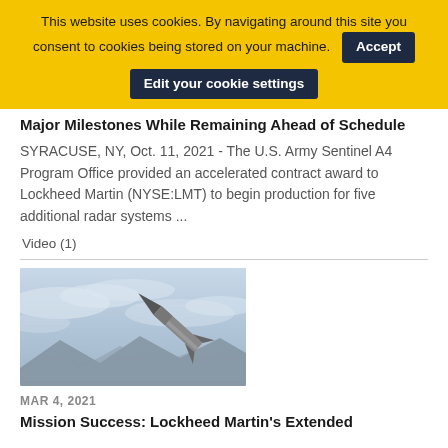This website uses cookies. By navigating around this site you consent to cookies being stored on your machine. Accept Edit your cookie settings
Major Milestones While Remaining Ahead of Schedule
SYRACUSE, NY, Oct. 11, 2021 - The U.S. Army Sentinel A4 Program Office provided an accelerated contract award to Lockheed Martin (NYSE:LMT) to begin production for five additional radar systems ...
Video (1)
[Figure (photo): A missile or rocket in flight against a cloudy sky with mountains in background]
MAR 4, 2021
Mission Success: Lockheed Martin's Extended